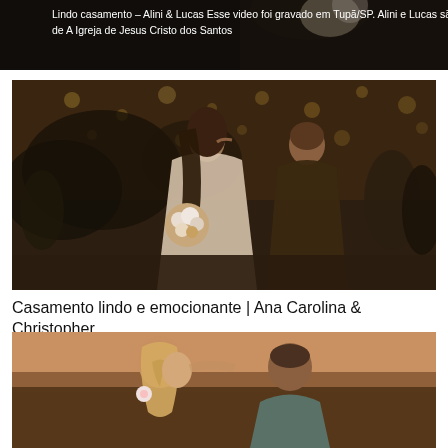[Figure (photo): Dark-toned partial wedding image with text overlay showing 'Lindo casamento – Alini & Lucas Esse video foi gravado em Tupã/SP. Alini e Lucas são membros de A Igreja de Jesus Cristo dos Santos']
[Figure (photo): Wedding photo of a couple kissing at a reception venue with bokeh string lights in the background. The bride holds a bouquet of white and tan flowers.]
Casamento lindo e emocionante | Ana Carolina & Christopher
[Figure (photo): Close-up of a bride and groom about to kiss outdoors. The bride has a braided updo with a small flower accessory; the groom wears a teal/grey suit.]